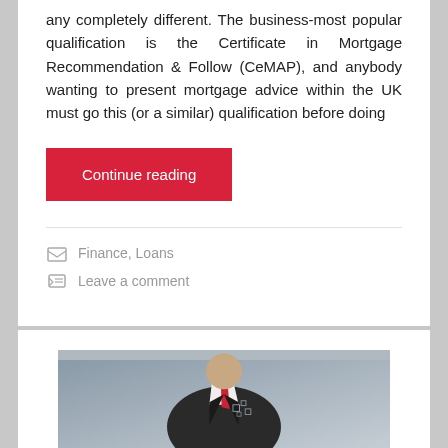any completely different. The business-most popular qualification is the Certificate in Mortgage Recommendation & Follow (CeMAP), and anybody wanting to present mortgage advice within the UK must go this (or a similar) qualification before doing
Continue reading
Finance, Loans
Leave a comment
[Figure (photo): A man in a dark suit and tie, partial view from chest up, against a grey background, with digital overlay elements]